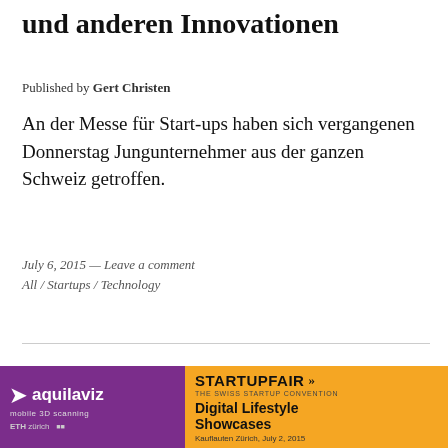und anderen Innovationen
Published by Gert Christen
An der Messe für Start-ups haben sich vergangenen Donnerstag Jungunternehmer aus der ganzen Schweiz getroffen.
July 6, 2015 — Leave a comment
All / Startups / Technology
[Figure (other): Advertisement banner showing aquilaviz (mobile 3D scanning, ETH Zürich) on purple background, STARTUPFAIR THE SWISS STARTUP CONVENTION with arrows logo, Digital Lifestyle Showcases text, Kauflauten Zürich July 2, 2015]